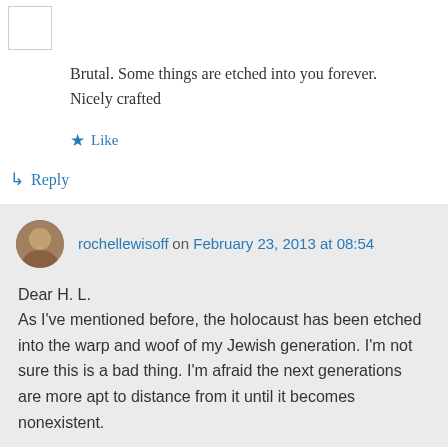[Figure (photo): Small avatar placeholder image, square with border]
Brutal. Some things are etched into you forever. Nicely crafted
★ Like
↳ Reply
rochellewisoff on February 23, 2013 at 08:54
Dear H. L.
As I've mentioned before, the holocaust has been etched into the warp and woof of my Jewish generation. I'm not sure this is a bad thing. I'm afraid the next generations are more apt to distance from it until it becomes nonexistent.